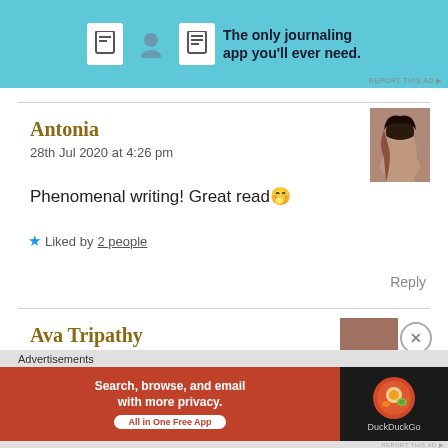[Figure (screenshot): Top advertisement banner with light blue background showing journaling app icons and text 'The only journaling app you'll ever need.']
Antonia
28th Jul 2020 at 4:26 pm
[Figure (photo): Avatar photo of a woman with long dark hair]
Phenomenal writing! Great read🤭
★ Liked by 2 people
Reply
Ava Tripathy
[Figure (screenshot): Bottom DuckDuckGo advertisement banner: 'Search, browse, and email with more privacy. All in One Free App' on orange/red background with DuckDuckGo logo on dark right panel]
Advertisements